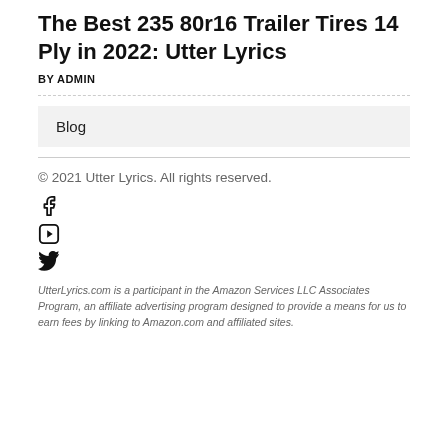The Best 235 80r16 Trailer Tires 14 Ply in 2022: Utter Lyrics
BY ADMIN
Blog
© 2021 Utter Lyrics. All rights reserved.
UtterLyrics.com is a participant in the Amazon Services LLC Associates Program, an affiliate advertising program designed to provide a means for us to earn fees by linking to Amazon.com and affiliated sites.